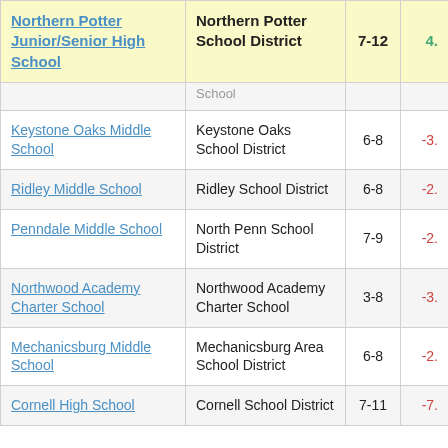| School | District | Grades | Value |
| --- | --- | --- | --- |
| Northern Potter Junior/Senior High School | Northern Potter School District | 7-12 | 4. |
| (School) | (School) |  |  |
| Keystone Oaks Middle School | Keystone Oaks School District | 6-8 | -3. |
| Ridley Middle School | Ridley School District | 6-8 | -2. |
| Penndale Middle School | North Penn School District | 7-9 | -2. |
| Northwood Academy Charter School | Northwood Academy Charter School | 3-8 | -3. |
| Mechanicsburg Middle School | Mechanicsburg Area School District | 6-8 | -2. |
| Cornell High School | Cornell School District | 7-11 | -7. |